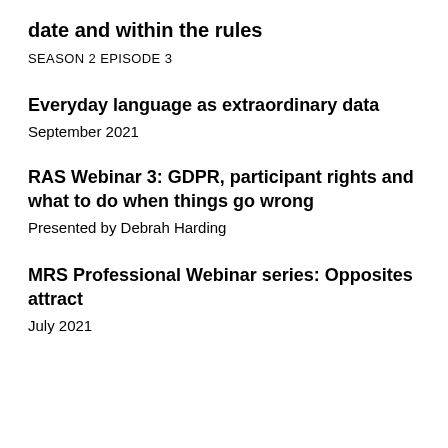date and within the rules
SEASON 2 EPISODE 3
Everyday language as extraordinary data
September 2021
RAS Webinar 3: GDPR, participant rights and what to do when things go wrong
Presented by Debrah Harding
MRS Professional Webinar series: Opposites attract
July 2021